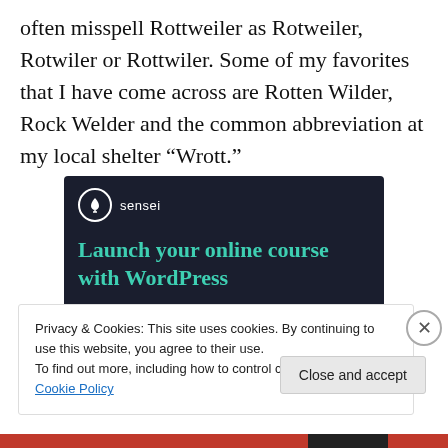often misspell Rottweiler as Rotweiler, Rotwiler or Rottwiler. Some of my favorites that I have come across are Rotten Wilder, Rock Welder and the common abbreviation at my local shelter “Wrott.”
[Figure (other): Advertisement banner for Sensei plugin: dark navy background with Sensei logo (tree icon in circle), teal headline text 'Launch your online course with WordPress', and a teal 'Learn More' button.]
Privacy & Cookies: This site uses cookies. By continuing to use this website, you agree to their use.
To find out more, including how to control cookies, see here: Cookie Policy
Close and accept